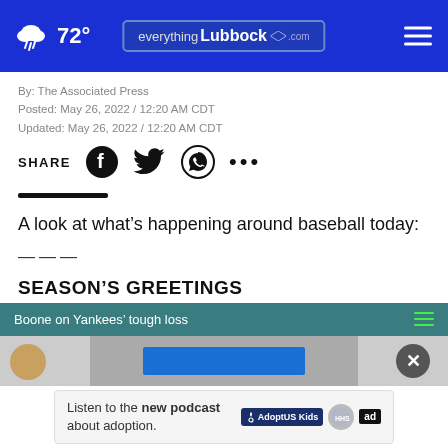72° everything Lubbock
By: The Associated Press
Posted: May 26, 2022 / 12:20 AM CDT
Updated: May 26, 2022 / 12:20 AM CDT
SHARE [Facebook] [Twitter] [WhatsApp] ...
A look at what’s happening around baseball today:
———
SEASON’S GREETINGS
[Figure (screenshot): Video player bar with teal header reading 'Boone on Yankees' tough loss' with close button overlay and advertisement bar at bottom saying 'Listen to the new podcast about adoption' with AdoptUSKids, HHS, and ad logos.]